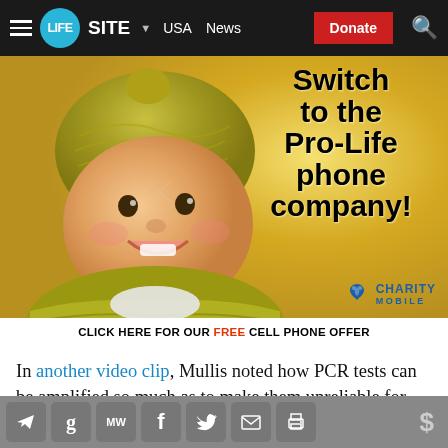LIFESITE | USA | News | Donate
[Figure (illustration): Advertisement: Baby wearing yellow knit hat and scarf smiling. Text overlay reads 'Switch to the Pro-Life phone company!' with Charity Mobile logo. Bottom bar: 'CLICK HERE FOR OUR FREE CELL PHONE OFFER']
In another video clip, Mullis noted how PCR tests can be amplified so much as to make them unreliable for diagnostic testing: “With PCR, if you do it well, you can
Share icons: Telegram, Gettr, MeWe, Facebook, Twitter, Email, Print | Donate ($)